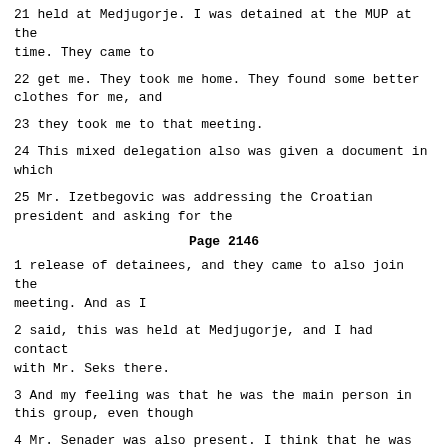21 held at Medjugorje. I was detained at the MUP at the time. They came to
22 get me. They took me home. They found some better clothes for me, and
23 they took me to that meeting.
24 This mixed delegation also was given a document in which
25 Mr. Izetbegovic was addressing the Croatian president and asking for the
Page 2146
1 release of detainees, and they came to also join the meeting. And as I
2 said, this was held at Medjugorje, and I had contact with Mr. Seks there.
3 And my feeling was that he was the main person in this group, even though
4 Mr. Senader was also present. I think that he was the vice-president of
5 HDZ at the time.
6 Q. Witness O, the vice-president of HDZ where, in reference to